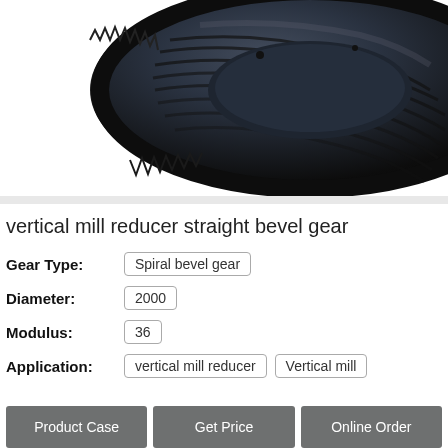[Figure (photo): Close-up photo of a large spiral bevel gear with machined teeth, dark metallic surface, circular ring gear shape viewed from above at an angle.]
vertical mill reducer straight bevel gear
| Attribute | Value |
| --- | --- |
| Gear Type: | Spiral bevel gear |
| Diameter: | 2000 |
| Modulus: | 36 |
| Application: | vertical mill reducer  Vertical mill |
Product Case  Get Price  Online Order